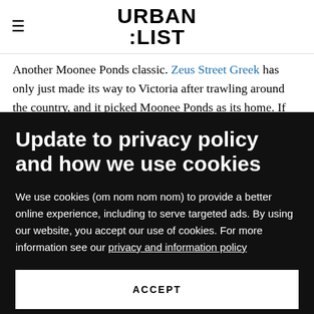URBAN :LIST
Another Moonee Ponds classic. Zeus Street Greek has only just made its way to Victoria after trawling around the country, and it picked Moonee Ponds as its home. If you're new to Zeus, you've gotta start with the signature 'Uncle Tzimmy' or the 'Zeus' pitas—you'll probably recognise
Update to privacy policy and how we use cookies
We use cookies (om nom nom nom) to provide a better online experience, including to serve targeted ads. By using our website, you accept our use of cookies. For more information see our privacy and information policy
ACCEPT